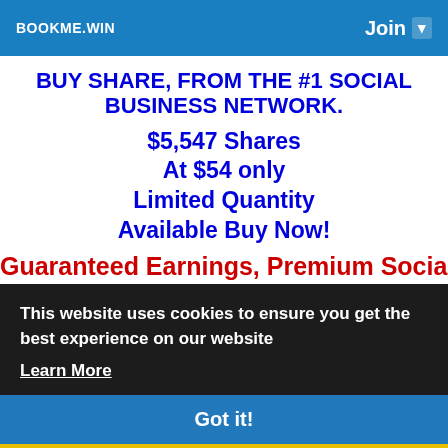BOOKME.WIN  Join
BUY SHARE, FROM THE #1 SOCIAL BUSINESS NETWORK.
$5,547 Shares
At $54 only
Limited Quantity
Available Buy Now!
Guaranteed Earnings, Premium Social
This website uses cookies to ensure you get the best experience on our website
Learn More
Got it!